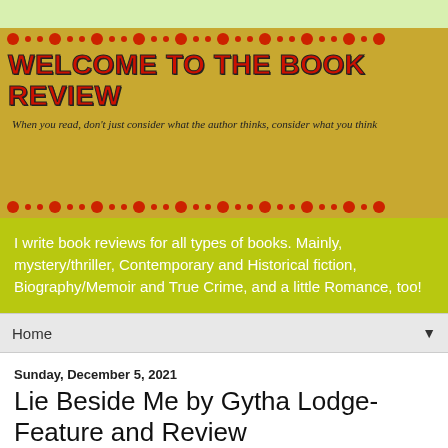[Figure (illustration): Blog header banner with golden/yellow background, decorative red dot borders top and bottom, large red bold text 'WELCOME TO THE BOOK REVIEW', and italic subtitle 'When you read, don’t just consider what the author thinks, consider what you think']
I write book reviews for all types of books. Mainly, mystery/thriller, Contemporary and Historical fiction, Biography/Memoir and True Crime, and a little Romance, too!
Home
Sunday, December 5, 2021
Lie Beside Me by Gytha Lodge- Feature and Review